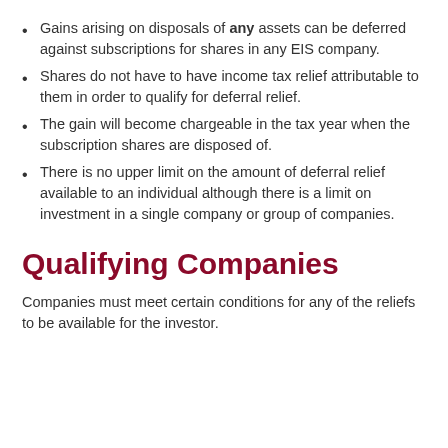Gains arising on disposals of any assets can be deferred against subscriptions for shares in any EIS company.
Shares do not have to have income tax relief attributable to them in order to qualify for deferral relief.
The gain will become chargeable in the tax year when the subscription shares are disposed of.
There is no upper limit on the amount of deferral relief available to an individual although there is a limit on investment in a single company or group of companies.
Qualifying Companies
Companies must meet certain conditions for any of the reliefs to be available for the investor.